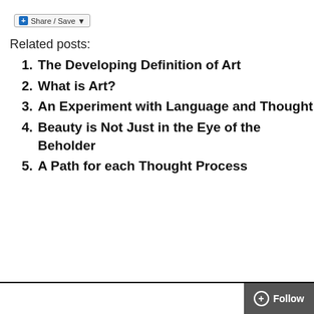Share / Save
Related posts:
The Developing Definition of Art
What is Art?
An Experiment with Language and Thought
Beauty is Not Just in the Eye of the Beholder
A Path for each Thought Process
Follow